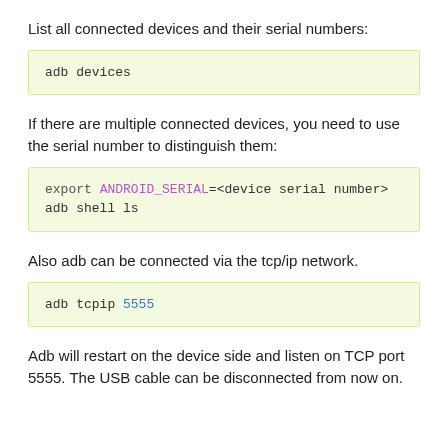List all connected devices and their serial numbers:
adb devices
If there are multiple connected devices, you need to use the serial number to distinguish them:
export ANDROID_SERIAL=<device serial number>
adb shell ls
Also adb can be connected via the tcp/ip network.
adb tcpip 5555
Adb will restart on the device side and listen on TCP port 5555. The USB cable can be disconnected from now on.